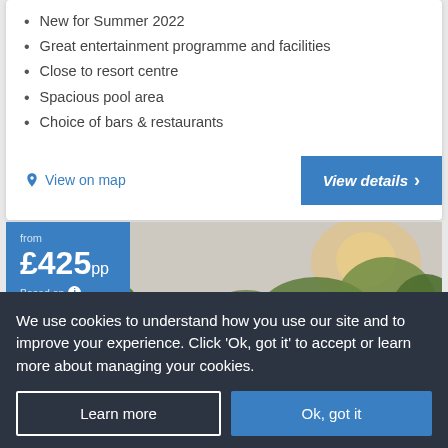New for Summer 2022
Great entertainment programme and facilities
Close to resort centre
Spacious pool area
Choice of bars & restaurants
View on map
View details
[Figure (photo): Resort pool area with sun loungers, palm trees, and wooden pergola structures under a sunny sky]
from £425pp Based on
We use cookies to understand how you use our site and to improve your experience. Click 'Ok, got it' to accept or learn more about managing your cookies.
Learn more
Ok, got it